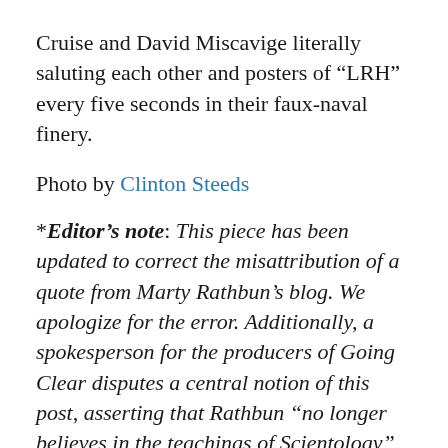Cruise and David Miscavige literally saluting each other and posters of “LRH” every five seconds in their faux-naval finery.
Photo by Clinton Steeds
*Editor’s note: This piece has been updated to correct the misattribution of a quote from Marty Rathbun’s blog. We apologize for the error. Additionally, a spokesperson for the producers of Going Clear disputes a central notion of this post, asserting that Rathbun “no longer believes in the teachings of Scientology” and “is no longer involved with the independents,” pointing to a blog post from last year, in which Rathbun writes, “I came to realize that its control and exploitation elements are so